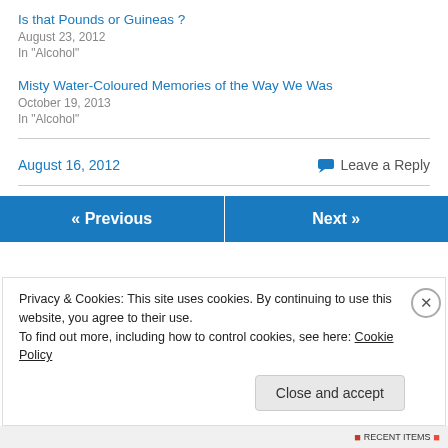Is that Pounds or Guineas ?
August 23, 2012
In "Alcohol"
Misty Water-Coloured Memories of the Way We Was
October 19, 2013
In "Alcohol"
August 16, 2012
Leave a Reply
« Previous
Next »
Privacy & Cookies: This site uses cookies. By continuing to use this website, you agree to their use.
To find out more, including how to control cookies, see here: Cookie Policy
Close and accept